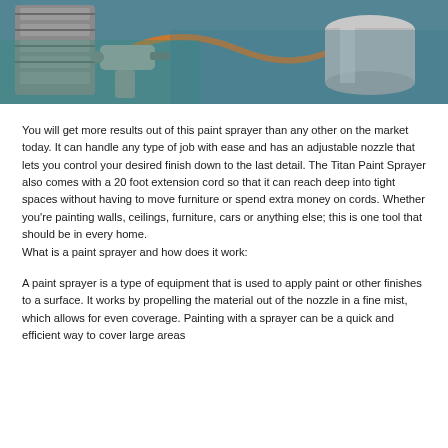[Figure (photo): Close-up photograph of a paint sprayer being used, showing the spray gun nozzle with an orange hose, a silver cylindrical paint cup, and a person wearing a teal/blue shirt in the background.]
You will get more results out of this paint sprayer than any other on the market today. It can handle any type of job with ease and has an adjustable nozzle that lets you control your desired finish down to the last detail. The Titan Paint Sprayer also comes with a 20 foot extension cord so that it can reach deep into tight spaces without having to move furniture or spend extra money on cords. Whether you're painting walls, ceilings, furniture, cars or anything else; this is one tool that should be in every home.
What is a paint sprayer and how does it work:
A paint sprayer is a type of equipment that is used to apply paint or other finishes to a surface. It works by propelling the material out of the nozzle in a fine mist, which allows for even coverage. Painting with a sprayer can be a quick and efficient way to cover large areas